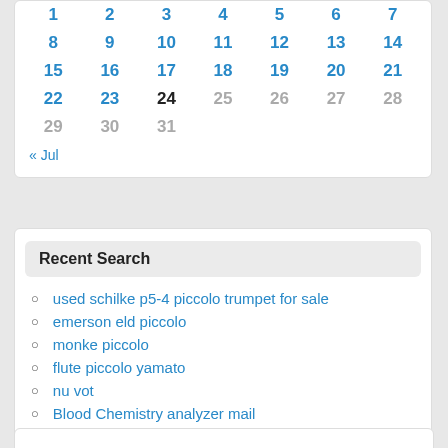| M | T | W | T | F | S | S |
| --- | --- | --- | --- | --- | --- | --- |
| 1 | 2 | 3 | 4 | 5 | 6 | 7 |
| 8 | 9 | 10 | 11 | 12 | 13 | 14 |
| 15 | 16 | 17 | 18 | 19 | 20 | 21 |
| 22 | 23 | 24 | 25 | 26 | 27 | 28 |
| 29 | 30 | 31 |  |  |  |  |
« Jul
Recent Search
used schilke p5-4 piccolo trumpet for sale
emerson eld piccolo
monke piccolo
flute piccolo yamato
nu vot
Blood Chemistry analyzer mail